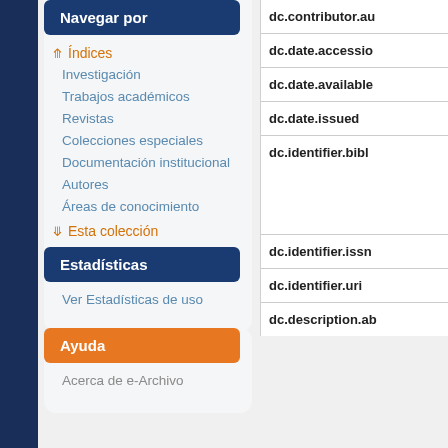Navegar por
Índices
Investigación
Trabajos académicos
Revistas
Colecciones especiales
Documentación institucional
Autores
Áreas de conocimiento
Esta colección
Estadísticas
Ver Estadísticas de uso
Ayuda
Acerca de e-Archivo
dc.contributor.au
dc.date.accessio
dc.date.available
dc.date.issued
dc.identifier.bibl
dc.identifier.issn
dc.identifier.uri
dc.description.ab